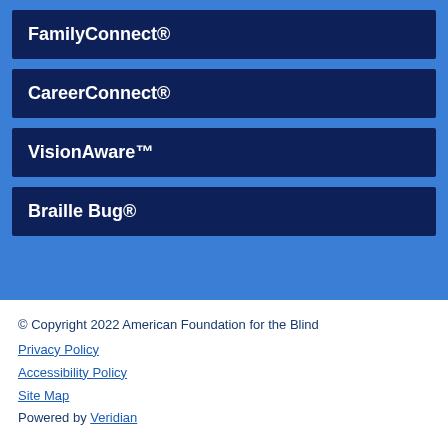FamilyConnect®
CareerConnect®
VisionAware™
Braille Bug®
© Copyright 2022 American Foundation for the Blind
Privacy Policy
Accessibility Policy
Site Map
Powered by Veridian